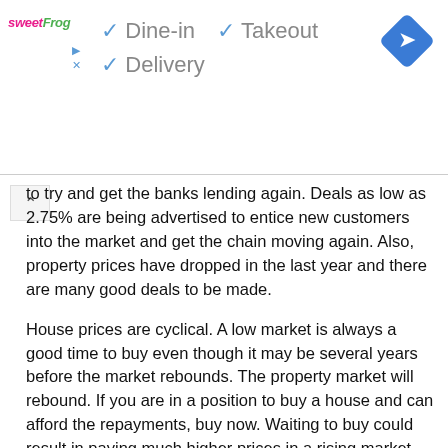[Figure (infographic): Advertisement banner for a restaurant/service showing sweetFrog logo with checkmarks for Dine-in, Takeout, and Delivery options, and a blue navigation diamond icon in the top right.]
to try and get the banks lending again. Deals as low as 2.75% are being advertised to entice new customers into the market and get the chain moving again. Also, property prices have dropped in the last year and there are many good deals to be made.
House prices are cyclical. A low market is always a good time to buy even though it may be several years before the market rebounds. The property market will rebound. If you are in a position to buy a house and can afford the repayments, buy now. Waiting to buy could result in paying much higher prices in a rising market.
Are you really ready?
It is also important to consider how long you will be in the home that you are about to purchase. Once you buy the home, it may be very difficult to resell right now. If the market continues to drop and you end up moving and selling in a year, you may have been wiser to wait a bit longer. So that is something that you want to make sure that